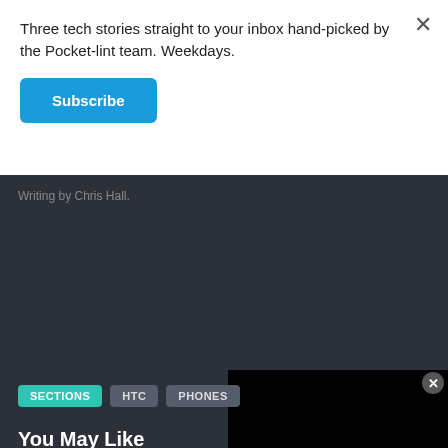Three tech stories straight to your inbox hand-picked by the Pocket-lint team. Weekdays.
Subscribe
Writing by Chris Hall.
SECTIONS
HTC
PHONES
You May Like
[Figure (photo): Red candy/gummy held by fingers on dark background]
Virginia Legalizes New Pain Reliever...
Health Headlines
[Figure (photo): Woman smiling in dental chair with blue-gloved dentist]
Here Is What Dental Implants May Cost You...
Dental
[Figure (photo): Medical illustration showing hepatitis]
Hepatitis C Signs (Many People May...
Hep C | Search Ads